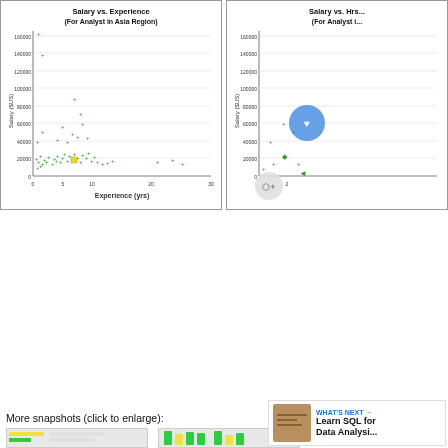[Figure (bar-chart): Salary by Region (Analyst in Asia)]
[Figure (bar-chart): Salary by Job Category]
Estimated Change in Earnings for Each Additional Year of Experience (in $US):
-$106
Estimated Change in ... Per Day Spent...
[Figure (scatter-plot): Salary vs. Experience (For Analyst in Asia Region)]
[Figure (scatter-plot): Salary vs. Hrs... (For Analyst i...]
More snapshots (click to enlarge):